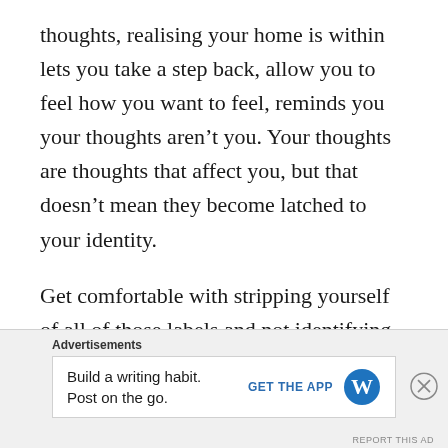thoughts, realising your home is within lets you take a step back, allow you to feel how you want to feel, reminds you your thoughts aren't you. Your thoughts are thoughts that affect you, but that doesn't mean they become latched to your identity.
Get comfortable with stripping yourself of all of those labels and not identifying with the temporaries around you. Meditate on yourself, let go of the world and view yourself as the raw ethereal being you are. This is the purpose of spirituality and spiritual practice. You honour
Advertisements
Build a writing habit. Post on the go.
GET THE APP